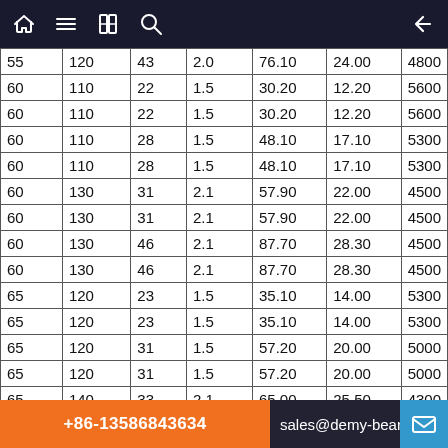Navigation bar with home, menu, book, search, and back icons
| 55 | 120 | 43 | 2.0 | 76.10 | 24.00 | 4800 |
| 60 | 110 | 22 | 1.5 | 30.20 | 12.20 | 5600 |
| 60 | 110 | 22 | 1.5 | 30.20 | 12.20 | 5600 |
| 60 | 110 | 28 | 1.5 | 48.10 | 17.10 | 5300 |
| 60 | 110 | 28 | 1.5 | 48.10 | 17.10 | 5300 |
| 60 | 130 | 31 | 2.1 | 57.90 | 22.00 | 4500 |
| 60 | 130 | 31 | 2.1 | 57.90 | 22.00 | 4500 |
| 60 | 130 | 46 | 2.1 | 87.70 | 28.30 | 4500 |
| 60 | 130 | 46 | 2.1 | 87.70 | 28.30 | 4500 |
| 65 | 120 | 23 | 1.5 | 35.10 | 14.00 | 5300 |
| 65 | 120 | 23 | 1.5 | 35.10 | 14.00 | 5300 |
| 65 | 120 | 31 | 1.5 | 57.20 | 20.00 | 5000 |
| 65 | 120 | 31 | 1.5 | 57.20 | 20.00 | 5000 |
| 65 | 140 | 33 | 2.1 | 65.00 | 25.50 | 4300 |
| 65 | 140 | 33 | 2.1 | 65.00 | 25.50 | 4300 |
| 65 | 140 | 48 | 2.1 | 95.60 | 32.50 | 4000 |
| 65 | 140 | 48 | 2.1 | 95.60 | 32.50 | 4000 |
| 70 | 125 | 24 | 1.5 | 34.20 | 13.50 | 5000 |
| 70 | 125 | 24 | 1.5 | 34.20 | 13.50 | 5000 |
+86-13586843634   sales@demy-bearing.